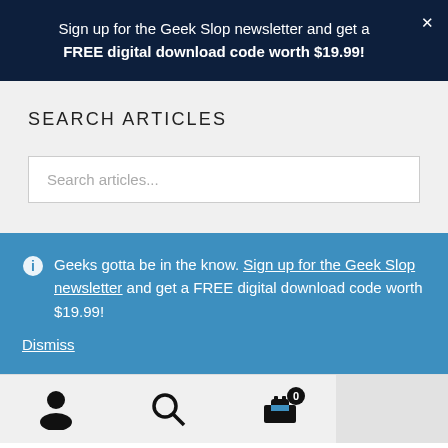Sign up for the Geek Slop newsletter and get a FREE digital download code worth $19.99!
SEARCH ARTICLES
Search articles...
Geeks gotta be in the know. Sign up for the Geek Slop newsletter and get a FREE digital download code worth $19.99!
Dismiss